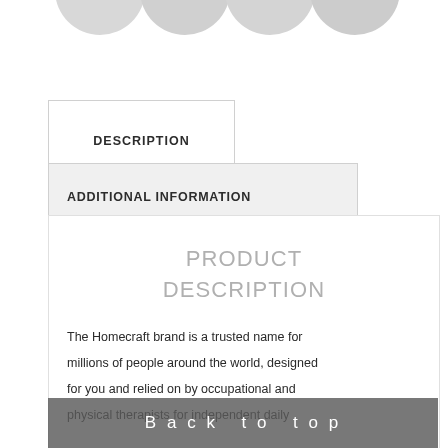[Figure (illustration): Partial view of circular icons/avatars cropped at the top of the page]
DESCRIPTION
ADDITIONAL INFORMATION
PRODUCT DESCRIPTION
The Homecraft brand is a trusted name for millions of people around the world, designed for you and relied on by occupational and physical therapists for independent daily living. At home, at the office, in the kitchen and
Back to top